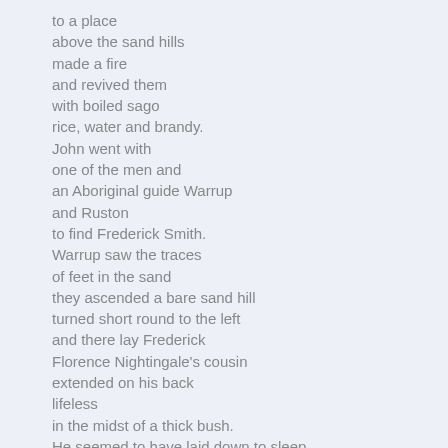to a place
above the sand hills
made a fire
and revived them
with boiled sago
rice, water and brandy.
John went with
one of the men and
an Aboriginal guide Warrup
and Ruston
to find Frederick Smith.
Warrup saw the traces
of feet in the sand
they ascended a bare sand hill
turned short round to the left
and there lay Frederick
Florence Nightingale's cousin
extended on his back
lifeless
in the midst of a thick bush.
He seemed to have laid down to sleep